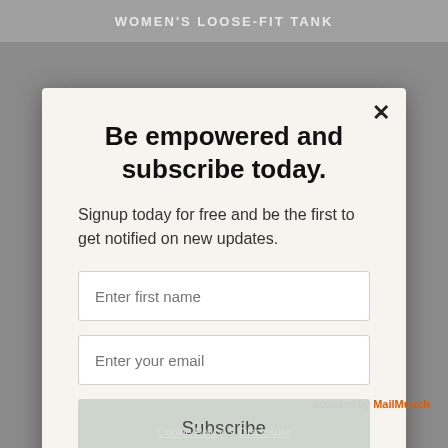WOMEN'S LOOSE-FIT TANK
Be empowered and subscribe today.
Signup today for free and be the first to get notified on new updates.
Enter first name
Enter your email
Subscribe
powered by MailMunch
Cookie Policy · Disclosure